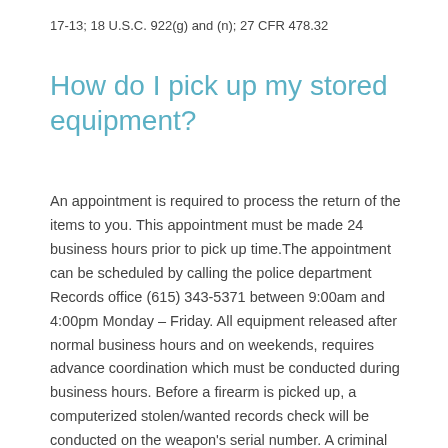17-13; 18 U.S.C. 922(g) and (n); 27 CFR 478.32
How do I pick up my stored equipment?
An appointment is required to process the return of the items to you. This appointment must be made 24 business hours prior to pick up time.The appointment can be scheduled by calling the police department Records office (615) 343-5371 between 9:00am and 4:00pm Monday – Friday. All equipment released after normal business hours and on weekends, requires advance coordination which must be conducted during business hours. Before a firearm is picked up, a computerized stolen/wanted records check will be conducted on the weapon's serial number. A criminal history record query will also be completed on the recipient to ensure the firearm is not released to a person who cannot legally